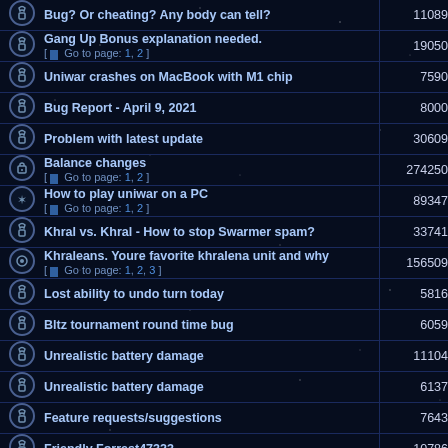|  | Topic | Views |
| --- | --- | --- |
|  | Bug? Or cheating? Any body can tell? | 11089 |
|  | Gang Up Bonus explanation needed.
[ Go to page: 1, 2 ] | 19050 |
|  | Uniwar crashes on MacBook with M1 chip | 7590 |
|  | Bug Report - April 9, 2021 | 8000 |
|  | Problem with latest update | 30609 |
|  | Balance changes
[ Go to page: 1, 2 ] | 274250 |
|  | How to play uniwar on a PC
[ Go to page: 1, 2 ] | 89347 |
|  | Khral vs. Khral - How to stop Swarmer spam? | 33741 |
|  | Khraleans. Youre favorite khralena unit and why
[ Go to page: 1, 2, 3 ] | 156509 |
|  | Lost ability to undo turn today | 5816 |
|  | Bltz tournament round time bug | 6059 |
|  | Unrealistic battery damage | 11104 |
|  | Unrealistic battery damage | 6137 |
|  | Feature requests/suggestions | 7643 |
|  | Friendly Forrest47323 | 10786 |
|  | GAME SERVER MAINTENANCE | 6704 |